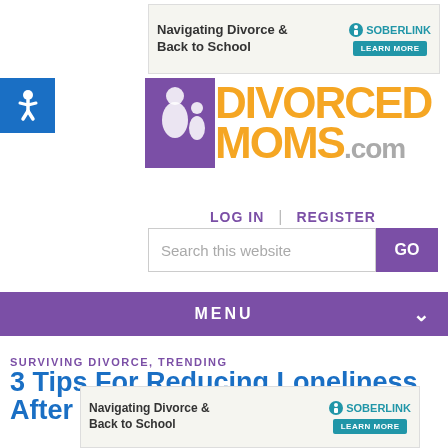[Figure (other): SoberLink advertisement banner: 'Navigating Divorce & Back to School' with LEARN MORE button]
[Figure (logo): Accessibility icon (wheelchair symbol) in blue square]
[Figure (logo): DivorcedMoms.com logo with purple icon and orange text]
LOG IN | REGISTER
Search this website
MENU
SURVIVING DIVORCE, TRENDING
3 Tips For Reducing Loneliness After Divorce
[Figure (other): SoberLink advertisement banner bottom: 'Navigating Divorce & Back to School' with LEARN MORE button]